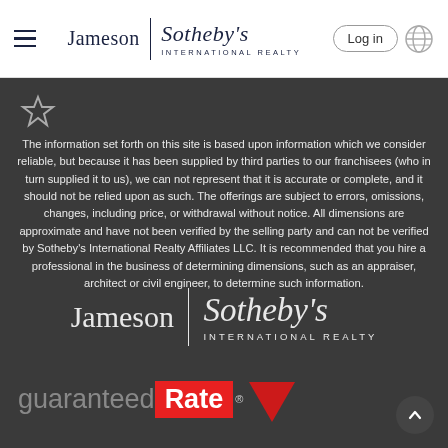Jameson | Sotheby's INTERNATIONAL REALTY  Log in
[Figure (logo): Star icon outline]
The information set forth on this site is based upon information which we consider reliable, but because it has been supplied by third parties to our franchisees (who in turn supplied it to us), we can not represent that it is accurate or complete, and it should not be relied upon as such. The offerings are subject to errors, omissions, changes, including price, or withdrawal without notice. All dimensions are approximate and have not been verified by the selling party and can not be verified by Sotheby's International Realty Affiliates LLC. It is recommended that you hire a professional in the business of determining dimensions, such as an appraiser, architect or civil engineer, to determine such information.
[Figure (logo): Jameson | Sotheby's International Realty logo (white on dark background)]
[Figure (logo): guaranteed Rate logo with red downward arrow]